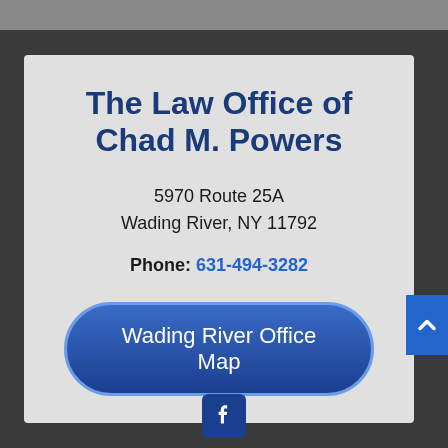The Law Office of Chad M. Powers
5970 Route 25A
Wading River, NY 11792
Phone: 631-494-3282
Wading River Office Map